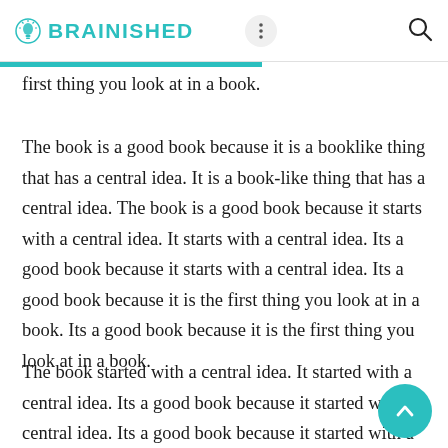BRAINISHED
first thing you look at in a book.
The book is a good book because it is a booklike thing that has a central idea. It is a book-like thing that has a central idea. The book is a good book because it starts with a central idea. It starts with a central idea. Its a good book because it starts with a central idea. Its a good book because it is the first thing you look at in a book. Its a good book because it is the first thing you look at in a book.
The book started with a central idea. It started with a central idea. Its a good book because it started with a central idea. Its a good book because it started with a central idea. Its a good book because it starts with a central idea. Its a good book because it is the first thing you look at